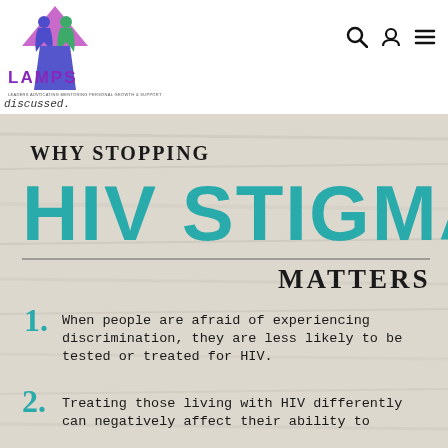[Figure (logo): LAMPS logo — two figures under umbrella shape, purple and teal colors, with text LAMPS LEADERS ADVOCATING MENTORING PERSONAL GROWTH & SUPPORT]
discussed.
[Figure (infographic): WHY STOPPING HIV STIGMA MATTERS infographic on wood-grain background. Lists reasons: 1. When people are afraid of experiencing discrimination, they are less likely to be tested or treated for HIV. 2. Treating those living with HIV differently can negatively affect their ability to [continue]]